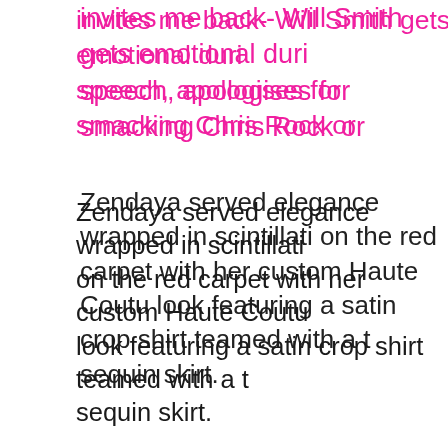invites me back- Will Smith gets emotional during speech, apologises for smacking Chris Rock or
Zendaya served elegance wrapped in scintillation on the red carpet with her custom Haute Couture look featuring a satin crop shirt teamed with a trailing sequin skirt.
JADA PINKETT SMITH IN JEAN PAUL G
[Figure (other): Share button (red circle with SHARE text) and image box with comment button]
[Figure (other): Orange comment/chat bubble button circle at bottom right]